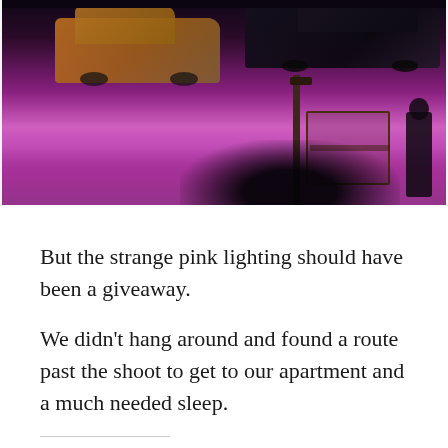[Figure (photo): A street scene at night with strange pink/magenta lighting. Vintage cars are visible including an orange/yellow taxi on the left and a dark car on the right. A bench, street lamp, and person silhouette are visible on the right side. The ground is bathed in pink/purple light suggesting a film shoot.]
But the strange pink lighting should have been a giveaway.
We didn’t hang around and found a route past the shoot to get to our apartment and a much needed sleep.
Share this:
Twitter
Facebook